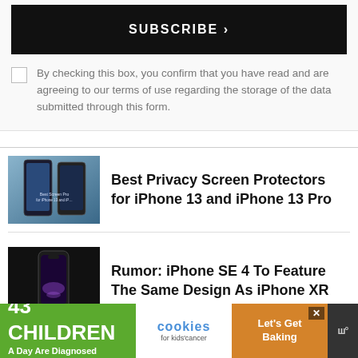SUBSCRIBE >
By checking this box, you confirm that you have read and are agreeing to our terms of use regarding the storage of the data submitted through this form.
[Figure (photo): Thumbnail image of Best Privacy Screen Protectors for iPhone 13 and iPhone 13 Pro]
Best Privacy Screen Protectors for iPhone 13 and iPhone 13 Pro
[Figure (photo): Thumbnail image of iPhone XR in black against dark background]
Rumor: iPhone SE 4 To Feature The Same Design As iPhone XR
[Figure (infographic): Ad banner: 43 CHILDREN A Day Are Diagnosed With Cancer in the U.S. — cookies for kids' cancer — Let's Get Baking]